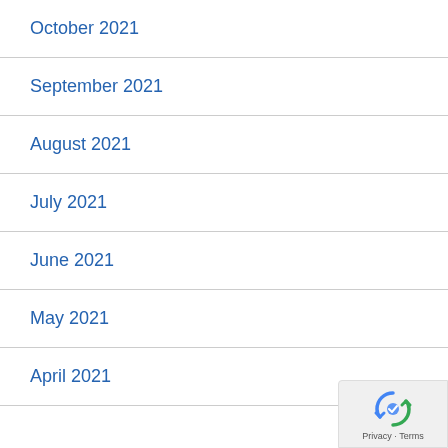October 2021
September 2021
August 2021
July 2021
June 2021
May 2021
April 2021
[Figure (logo): reCAPTCHA privacy badge with rotating arrows icon and Privacy - Terms text]